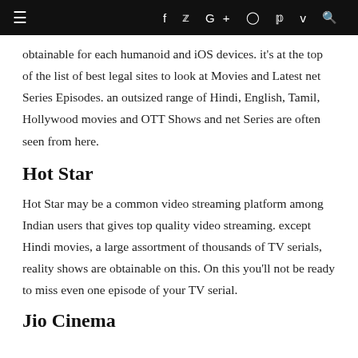≡  f  t  G+  ⊙  p  v  🔍
obtainable for each humanoid and iOS devices. it's at the top of the list of best legal sites to look at Movies and Latest net Series Episodes. an outsized range of Hindi, English, Tamil, Hollywood movies and OTT Shows and net Series are often seen from here.
Hot Star
Hot Star may be a common video streaming platform among Indian users that gives top quality video streaming. except Hindi movies, a large assortment of thousands of TV serials, reality shows are obtainable on this. On this you'll not be ready to miss even one episode of your TV serial.
Jio Cinema